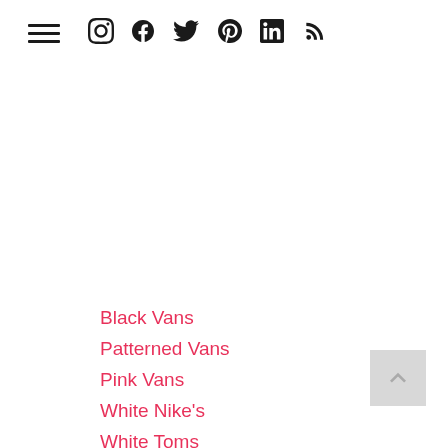≡ Instagram Facebook Twitter Pinterest LinkedIn RSS
Black Vans
Patterned Vans
Pink Vans
White Nike's
White Toms
White Superga's
White P448's